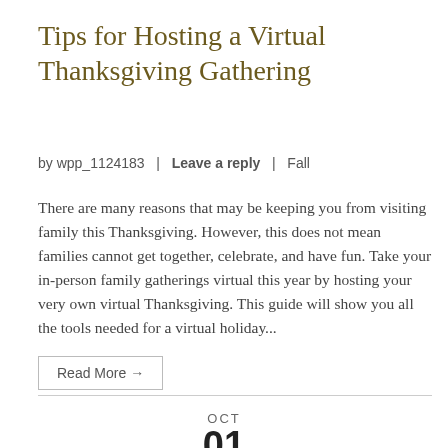Tips for Hosting a Virtual Thanksgiving Gathering
by wpp_1124183  |  Leave a reply  |  Fall
There are many reasons that may be keeping you from visiting family this Thanksgiving. However, this does not mean families cannot get together, celebrate, and have fun. Take your in-person family gatherings virtual this year by hosting your very own virtual Thanksgiving. This guide will show you all the tools needed for a virtual holiday...
Read More →
OCT 01 2020